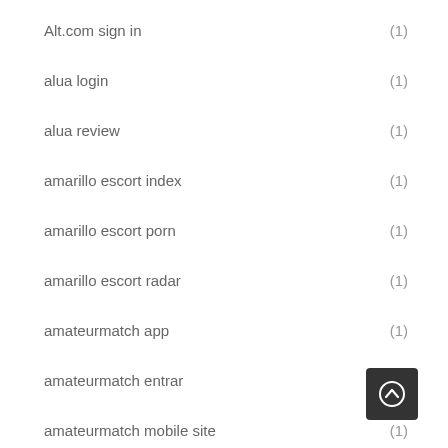Alt.com sign in (1)
alua login (1)
alua review (1)
amarillo escort index (1)
amarillo escort porn (1)
amarillo escort radar (1)
amateurmatch app (1)
amateurmatch entrar (1)
amateurmatch mobile site (1)